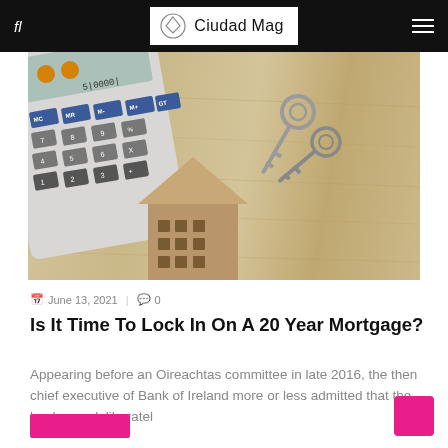fl  Ciudad Mag
[Figure (photo): A calculator, a small cardboard house cutout, and two metal keys arranged on a wooden surface — mortgage/finance concept photo]
June 13, 2021  |  0
Is It Time To Lock In On A 20 Year Mortgage?
Appearing before an Oireachtas committee in late 2016, the then chief executive of Bank of Ireland more or less admitted that the bank was deliberatel